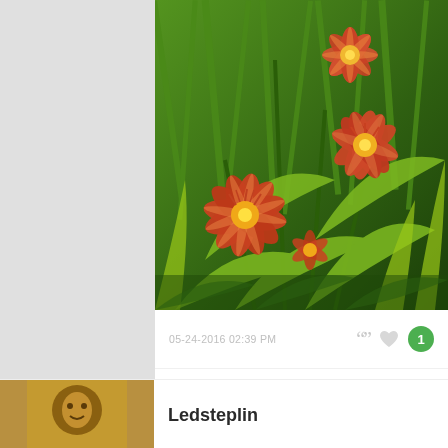[Figure (photo): Photograph of orange/red daylily flowers in bloom with green foliage and grass in the background, taken outdoors in natural daylight]
05-24-2016 02:39 PM
Ledsteplin